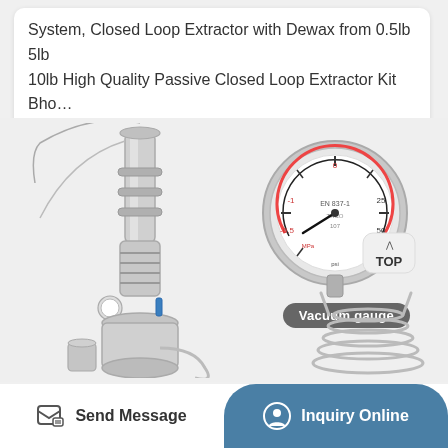System, Closed Loop Extractor with Dewax from 0.5lb 5lb 10lb High Quality Passive Closed Loop Extractor Kit Bho…
[Figure (photo): Product photo of a stainless steel closed loop extractor system (left), a vacuum gauge with TOP button label (upper right), a spiral coil/condenser (lower right), and a 'Vacuum gauge' label overlay.]
Send Message
Inquiry Online